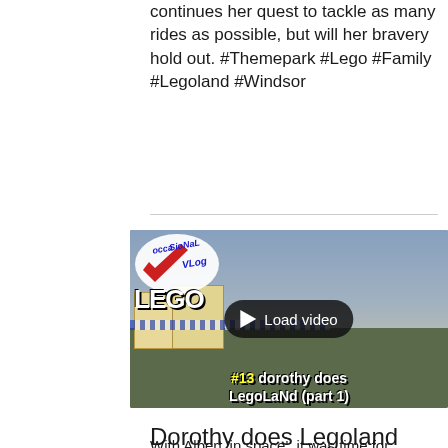continues her quest to tackle as many rides as possible, but will her bravery hold out. #Themepark #Lego #Family #Legoland #Windsor
[Figure (screenshot): Video thumbnail for 'Dorothy does Legoland (part 1)' showing an Occasional Vlog badge, LEGO park in background, a Load video play button overlay, and the title '#13 dorothy does Legoland (part 1)' in stylized text]
Dorothy does Legoland (part 1)
With Albert 'in space', it was time for